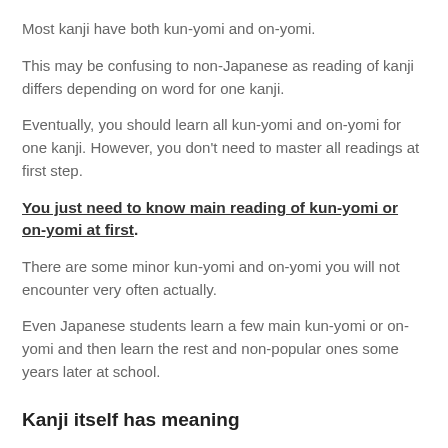Most kanji have both kun-yomi and on-yomi.
This may be confusing to non-Japanese as reading of kanji differs depending on word for one kanji.
Eventually, you should learn all kun-yomi and on-yomi for one kanji. However, you don't need to master all readings at first step.
You just need to know main reading of kun-yomi or on-yomi at first.
There are some minor kun-yomi and on-yomi you will not encounter very often actually.
Even Japanese students learn a few main kun-yomi or on-yomi and then learn the rest and non-popular ones some years later at school.
Kanji itself has meaning